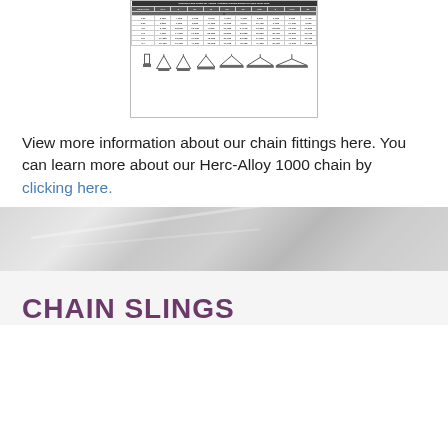[Figure (table-as-image): Working load limits for angles available for chain fitting types - a small document image showing a table and chain sling angle diagrams]
View more information about our chain fittings here. You can learn more about our Herc-Alloy 1000 chain by clicking here.
CHAIN SLINGS